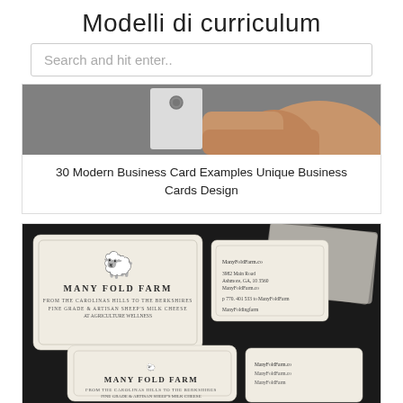Modelli di curriculum
Search and hit enter..
[Figure (photo): Hand holding a white business card with a hole/eyelet at the top, against a grey background]
30 Modern Business Card Examples Unique Business Cards Design
[Figure (photo): Letterpress business cards for Many Fold Farm arranged on a dark surface, featuring a red sheep logo and vintage typography]
Many Fold Farm Letterpress Business Cards Letterpress